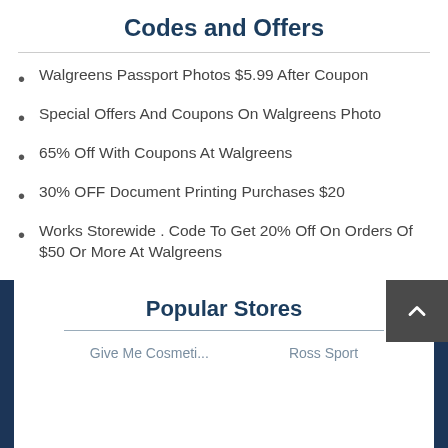Codes and Offers
Walgreens Passport Photos $5.99 After Coupon
Special Offers And Coupons On Walgreens Photo
65% Off With Coupons At Walgreens
30% OFF Document Printing Purchases $20
Works Storewide . Code To Get 20% Off On Orders Of $50 Or More At Walgreens
Popular Stores
Give Me Cosmeti...
Ross Sport